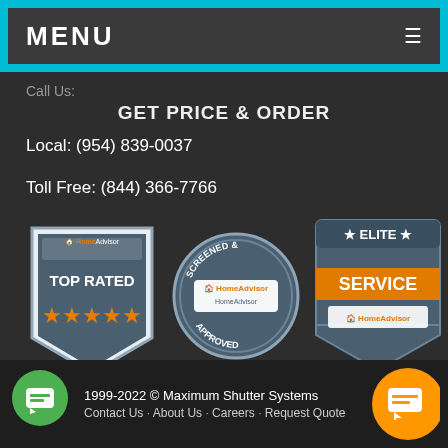MENU
Call Us:
GET PRICE & ORDER
Local: (954) 839-0037
Toll Free: (844) 366-7766
[Figure (logo): HomeAdvisor Top Rated badge with 5 orange stars]
[Figure (logo): HomeAdvisor Screened & Approved circular badge]
[Figure (logo): HomeAdvisor Elite Service badge with orange SERVICE text]
1999-2022 © Maximum Shutter Systems   Contact Us · About Us · Careers · Request Quote